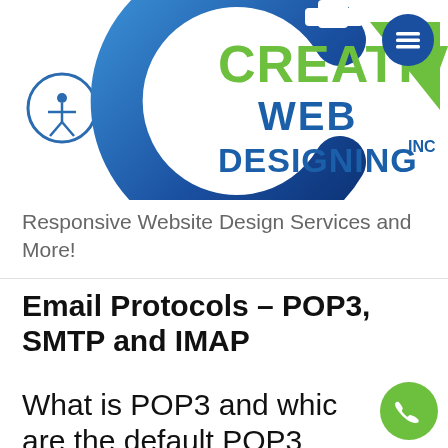[Figure (logo): Creative Web Designing Inc. logo — blue C-shape with gear notch, accessibility icon circle, green triangle accent, green 'CREATIVE' text and blue 'WEB DESIGNING' text with 'INC' superscript]
[Figure (other): Dark blue circle with three horizontal lines (hamburger menu icon) in top-right corner]
Responsive Website Design Services and More!
Email Protocols – POP3, SMTP and IMAP
What is POP3 and whic are the default POP3
[Figure (other): Green circle with white phone handset icon (call button) in bottom-right corner]